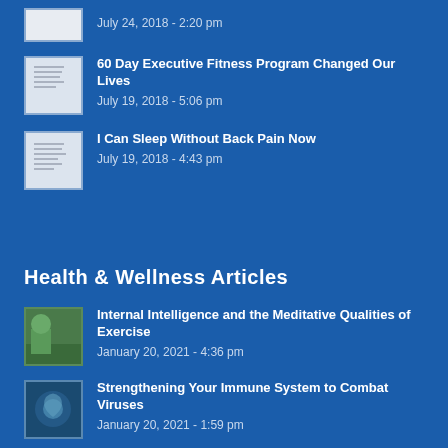60 Day Executive Fitness Program Changed Our Lives
July 19, 2018 - 5:06 pm
I Can Sleep Without Back Pain Now
July 19, 2018 - 4:43 pm
Health & Wellness Articles
Internal Intelligence and the Meditative Qualities of Exercise
January 20, 2021 - 4:36 pm
Strengthening Your Immune System to Combat Viruses
January 20, 2021 - 1:59 pm
What is Anterior Head Carriage and How to Fix it
June 25, 2020 - 11:27 am
Prevention and Treatment of Diabetes with Diet and Exercise
June 17, 2020 - 3:52 pm